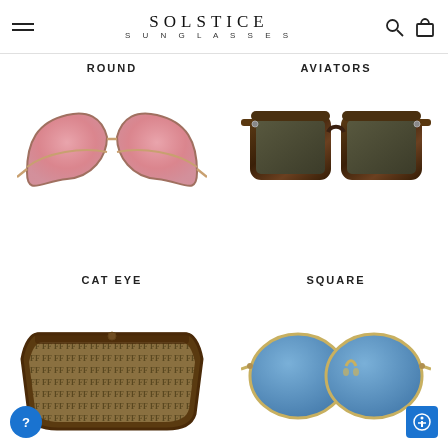SOLSTICE SUNGLASSES
ROUND
AVIATORS
[Figure (photo): Cat eye sunglasses with pink gradient lenses and gold metal frame]
[Figure (photo): Square/wayfarer sunglasses with dark green lenses and tortoise shell frame]
CAT EYE
SQUARE
[Figure (photo): Shield sunglasses with Fendi FF logo pattern lenses and dark tortoise frame]
[Figure (photo): Round/oval sunglasses with blue lenses and gold metal frame]
SHIELD
OVAL